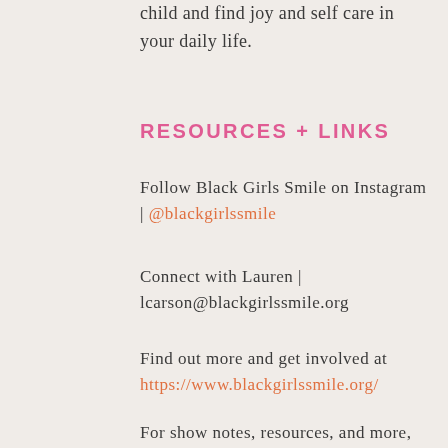child and find joy and self care in your daily life.
RESOURCES + LINKS
Follow Black Girls Smile on Instagram | @blackgirlssmile
Connect with Lauren | lcarson@blackgirlssmile.org
Find out more and get involved at https://www.blackgirlssmile.org/
For show notes, resources, and more, visit Chicks Who Give a Hoot